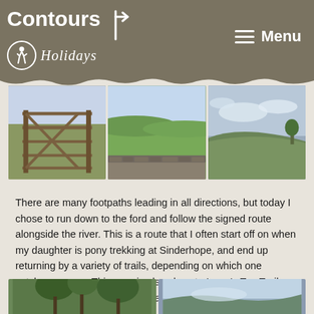Contours Holidays — Menu
[Figure (photo): Three landscape photos side by side: a wooden farm gate, a stone wall with green hills, and moorland with cloudy sky]
There are many footpaths leading in all directions, but today I chose to run down to the ford and follow the signed route alongside the river. This is a route that I often start off on when my daughter is pony trekking at Sinderhope, and end up returning by a variety of trails, depending on which one catches my eye. This area is also close to Isaac's Tea Trail, which I hope to run all the way around in the next few weeks.
[Figure (photo): Two partial landscape/nature photos visible at the bottom of the page]